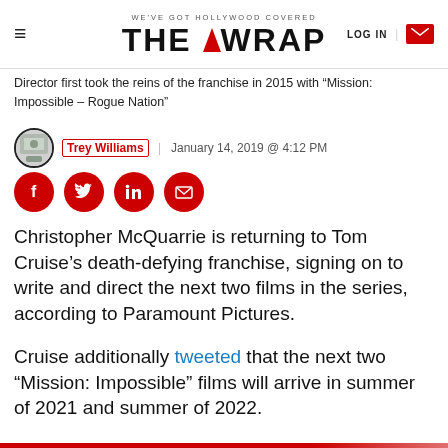WE'VE GOT HOLLYWOOD COVERED | THE WRAP | LOG IN
Director first took the reins of the franchise in 2015 with “Mission: Impossible – Rogue Nation”
Trey Williams | January 14, 2019 @ 4:12 PM
[Figure (other): Social share buttons: Facebook, Twitter, LinkedIn, Email]
Christopher McQuarrie is returning to Tom Cruise’s death-defying franchise, signing on to write and direct the next two films in the series, according to Paramount Pictures.
Cruise additionally tweeted that the next two “Mission: Impossible” films will arrive in summer of 2021 and summer of 2022.